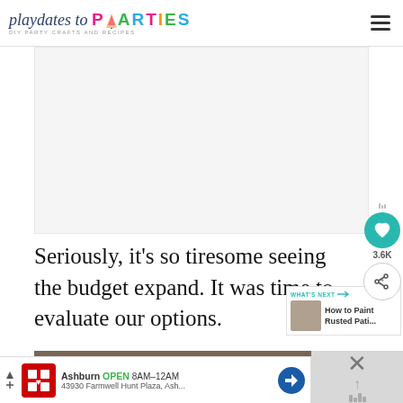playdates to PARTIES — DIY PARTY CRAFTS AND RECIPES
[Figure (photo): Large rectangular image placeholder (article photo, light gray background)]
Seriously, it's so tiresome seeing the budget expand. It was time to evaluate our options.
[Figure (infographic): What's Next panel with thumbnail and text: How to Paint Rusted Pati...]
[Figure (photo): Bottom image strip, partial view of photo]
[Figure (other): CVS Pharmacy ad banner: Ashburn OPEN 8AM-12AM, 43930 Farmwell Hunt Plaza, Ash...]